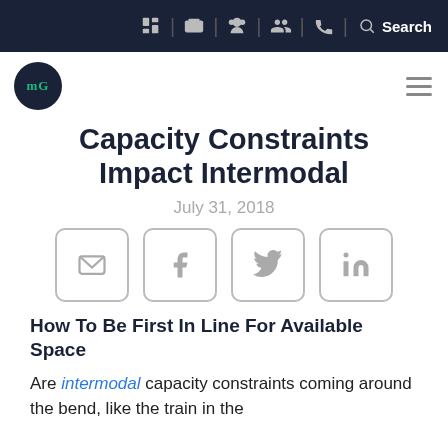Navigation bar with icons and Search
[Figure (logo): MG logo circle in dark navy background with teal text, and hamburger menu icon]
Capacity Constraints Impact Intermodal
July 31, 2018
[Figure (other): Social share buttons: Email, Facebook, Twitter, LinkedIn]
How To Be First In Line For Available Space
Are intermodal capacity constraints coming around the bend, like the train in the